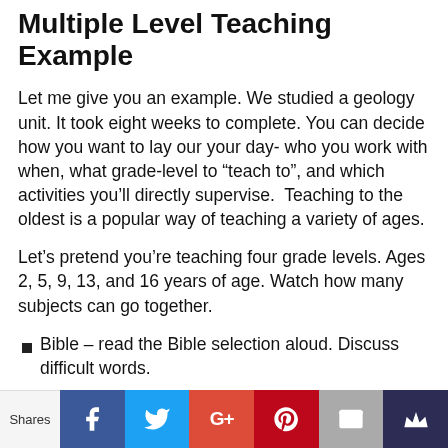Multiple Level Teaching Example
Let me give you an example. We studied a geology unit. It took eight weeks to complete. You can decide how you want to lay our your day- who you work with when, what grade-level to “teach to”, and which activities you’ll directly supervise.  Teaching to the oldest is a popular way of teaching a variety of ages.
Let’s pretend you’re teaching four grade levels. Ages 2, 5, 9, 13, and 16 years of age. Watch how many subjects can go together.
Bible – read the Bible selection aloud. Discuss difficult words.
Reading – assign separate reading for the readers, have a read aloud, and read books to the youngers—all on the same subject.
Spelling – create an age appropriate word list